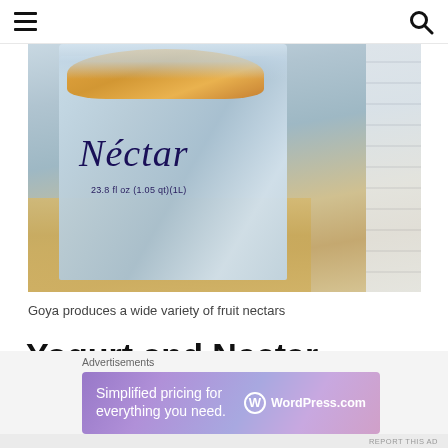Navigation menu and search icon
[Figure (photo): A blue Goya Nectar juice container on a wooden surface, partially open at the top showing fruit inside. The label reads 'Néctar' in cursive script with '23.8 fl oz (1.05 qt)(1L)' below it. A folded paper or label is visible to the right.]
Goya produces a wide variety of fruit nectars
Yogurt and Nectar Bread
Advertisements
[Figure (screenshot): WordPress.com advertisement banner reading 'Simplified pricing for everything you need.' with WordPress.com logo on right side, gradient purple-pink background.]